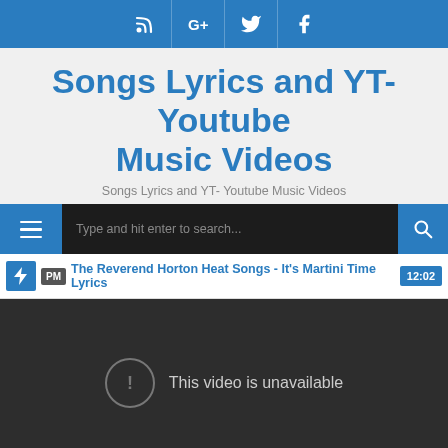Social icons bar: RSS, Google+, Twitter, Facebook
Songs Lyrics and YT- Youtube Music Videos
Songs Lyrics and YT- Youtube Music Videos
Type and hit enter to search...
The Reverend Horton Heat Songs - It's Martini Time Lyrics  12:02
[Figure (screenshot): Embedded YouTube video player showing 'This video is unavailable' error message with exclamation icon on dark background]